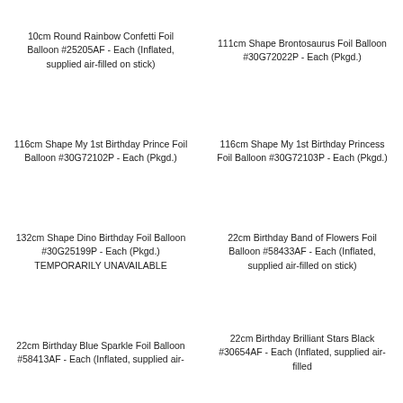10cm Round Rainbow Confetti Foil Balloon #25205AF - Each (Inflated, supplied air-filled on stick)
111cm Shape Brontosaurus Foil Balloon #30G72022P - Each (Pkgd.)
116cm Shape My 1st Birthday Prince Foil Balloon #30G72102P - Each (Pkgd.)
116cm Shape My 1st Birthday Princess Foil Balloon #30G72103P - Each (Pkgd.)
132cm Shape Dino Birthday Foil Balloon #30G25199P - Each (Pkgd.) TEMPORARILY UNAVAILABLE
22cm Birthday Band of Flowers Foil Balloon #58433AF - Each (Inflated, supplied air-filled on stick)
22cm Birthday Blue Sparkle Foil Balloon #58413AF - Each (Inflated, supplied air-
22cm Birthday Brilliant Stars Black #30654AF - Each (Inflated, supplied air-filled